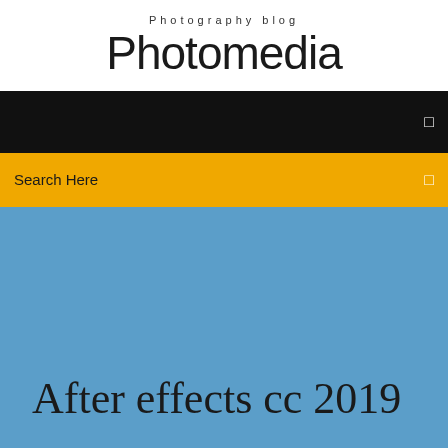Photography blog
Photomedia
☰
Search Here
☰
After effects cc 2019